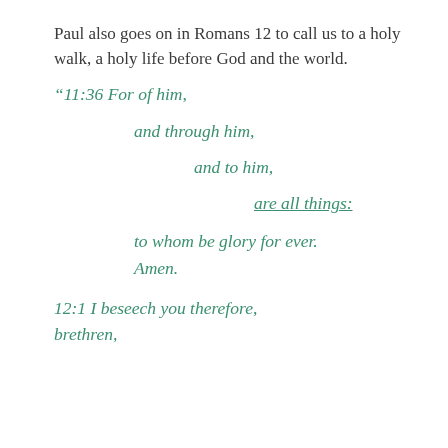Paul also goes on in Romans 12 to call us to a holy walk, a holy life before God and the world.
“11:36 For of him, and through him, and to him, are all things: to whom be glory for ever. Amen. 12:1 I beseech you therefore, brethren,